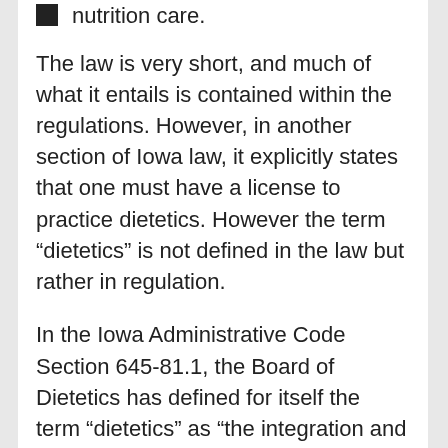nutrition care.
The law is very short, and much of what it entails is contained within the regulations. However, in another section of Iowa law, it explicitly states that one must have a license to practice dietetics. However the term “dietetics” is not defined in the law but rather in regulation.
In the Iowa Administrative Code Section 645-81.1, the Board of Dietetics has defined for itself the term “dietetics” as “the integration and application of principles derived from the sciences of nutrition, biochemistry, physiology, food